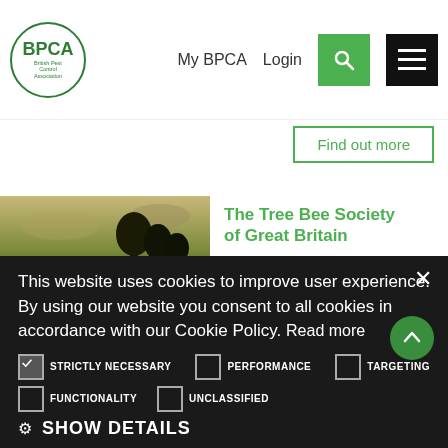[Figure (logo): BPCA British Pest Control Association circular green logo]
My BPCA   Login
[Figure (screenshot): Green search button with magnifying glass icon and black hamburger menu button]
Find out more
[Figure (photo): Outdoor landscape photo with trees and sky]
The Tree Bee Society of Great Britain
This website uses cookies to improve user experience. By using our website you consent to all cookies in accordance with our Cookie Policy. Read more
STRICTLY NECESSARY   PERFORMANCE   TARGETING
FUNCTIONALITY   UNCLASSIFIED
⚙ SHOW DETAILS
ACCEPT ALL
DECLINE ALL